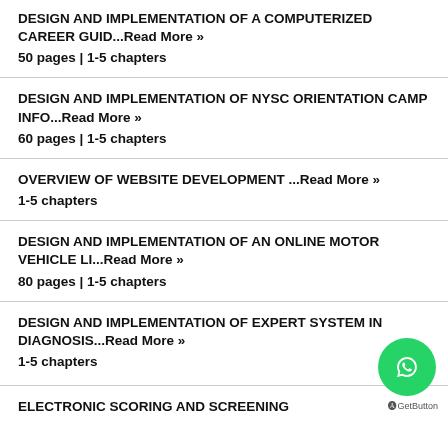DESIGN AND IMPLEMENTATION OF A COMPUTERIZED CAREER GUID...Read More »
50 pages | 1-5 chapters
DESIGN AND IMPLEMENTATION OF NYSC ORIENTATION CAMP INFO...Read More »
60 pages | 1-5 chapters
OVERVIEW OF WEBSITE DEVELOPMENT ...Read More »
1-5 chapters
DESIGN AND IMPLEMENTATION OF AN ONLINE MOTOR VEHICLE LI...Read More »
80 pages | 1-5 chapters
DESIGN AND IMPLEMENTATION OF EXPERT SYSTEM IN DIAGNOSIS...Read More »
1-5 chapters
ELECTRONIC SCORING AND SCREENING